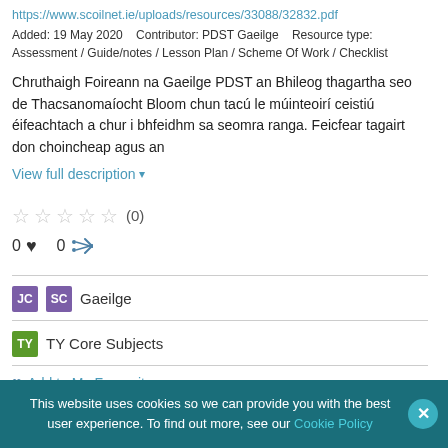https://www.scoilnet.ie/uploads/resources/33088/32832.pdf
Added: 19 May 2020    Contributor: PDST Gaeilge    Resource type: Assessment / Guide/notes / Lesson Plan / Scheme Of Work / Checklist
Chruthaigh Foireann na Gaeilge PDST an Bhileog thagartha seo de Thacsanomaíocht Bloom chun tacú le múinteoirí ceistiú éifeachtach a chur i bhfeidhm sa seomra ranga. Feicfear tagairt don choincheap agus an
View full description
★ ★ ★ ★ ★ (0)
0 ♥  0 share
JC SC  Gaeilge
TY  TY Core Subjects
Add to My Favourites
This website uses cookies so we can provide you with the best user experience. To find out more, see our Cookie Policy